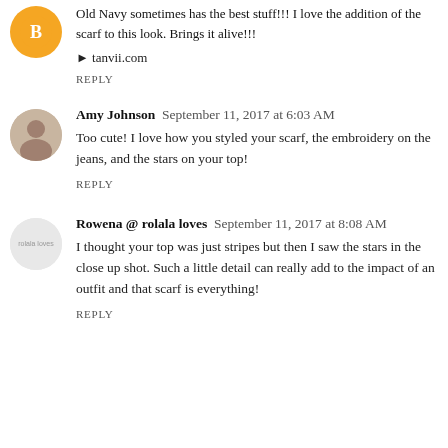Old Navy sometimes has the best stuff!!! I love the addition of the scarf to this look. Brings it alive!!!
▶ tanvii.com
REPLY
Amy Johnson  September 11, 2017 at 6:03 AM
Too cute! I love how you styled your scarf, the embroidery on the jeans, and the stars on your top!
REPLY
Rowena @ rolala loves  September 11, 2017 at 8:08 AM
I thought your top was just stripes but then I saw the stars in the close up shot. Such a little detail can really add to the impact of an outfit and that scarf is everything!
REPLY